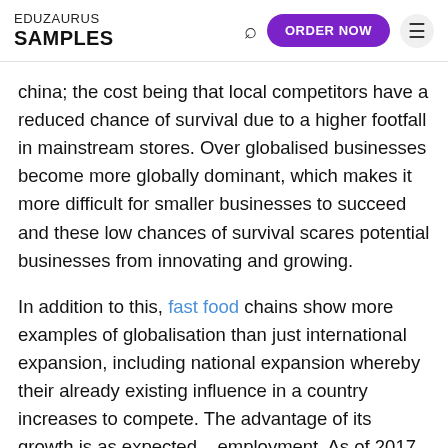EDUZAURUS SAMPLES | ORDER NOW
china; the cost being that local competitors have a reduced chance of survival due to a higher footfall in mainstream stores. Over globalised businesses become more globally dominant, which makes it more difficult for smaller businesses to succeed and these low chances of survival scares potential businesses from innovating and growing.
In addition to this, fast food chains show more examples of globalisation than just international expansion, including national expansion whereby their already existing influence in a country increases to compete. The advantage of its growth is as expected – employment. As of 2017, McDonalds employs over 115,000 across 1,270 stores which means consumers have increases spending meaning more people can afford more ''luxury'' goods which leads to a higher demand and therefore, a higher output for the UK,